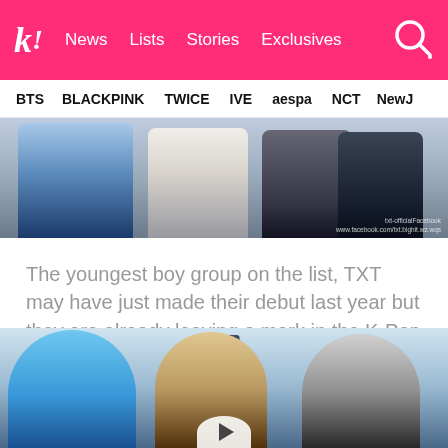k! News Lists Stories Exclusives
BTS BLACKPINK TWICE IVE aespa NCT NewJ
[Figure (photo): Photo of K-pop group TXT members sitting, partial lower body visible, wearing casual clothes including jeans and black outfits. Facebook watermark visible in bottom right.]
The youngest boy group on the list, TXT may have just made their debut last year but they are already leaving a mark in the K-Pop industry. Indonesians love the boys and mention them often on Twitter.
[Figure (photo): Photo of three TXT members, one with blue hair on the left, one with light brown hair in the center, and one with dark hair on the right, appearing cheerful and energetic. A play button icon is partially visible at the bottom.]